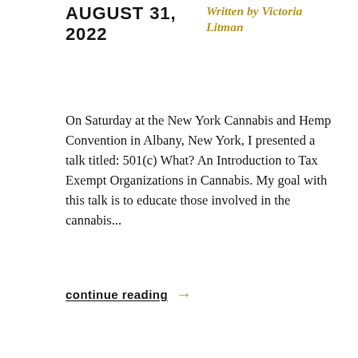AUGUST 31, 2022
Written by Victoria Litman
On Saturday at the New York Cannabis and Hemp Convention in Albany, New York, I presented a talk titled: 501(c) What? An Introduction to Tax Exempt Organizations in Cannabis. My goal with this talk is to educate those involved in the cannabis...
continue reading →